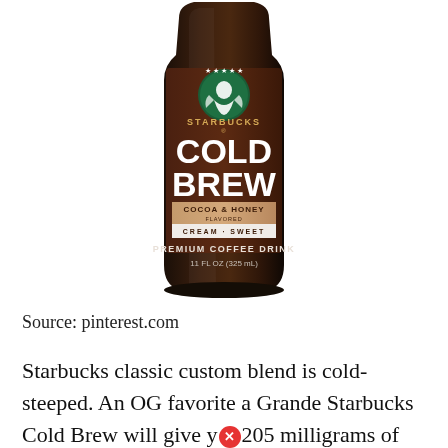[Figure (photo): Starbucks Cold Brew Cocoa & Honey flavored premium coffee drink bottle, 11 FL OZ (325 mL), dark brown glass bottle with Starbucks logo and label]
Source: pinterest.com
Starbucks classic custom blend is cold-steeped. An OG favorite a Grande Starbucks Cold Brew will give y[error]205 milligrams of